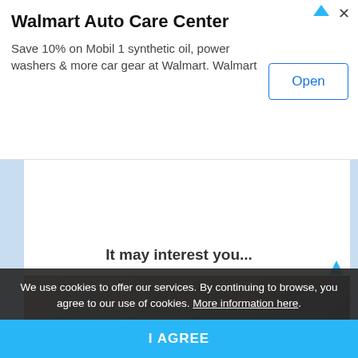[Figure (screenshot): Walmart Auto Care Center advertisement banner with title, subtitle text, and Open button]
Walmart Auto Care Center
Save 10% on Mobil 1 synthetic oil, power washers & more car gear at Walmart. Walmart
It may interest you...
We use cookies to offer our services. By continuing to browse, you agree to our use of cookies. More information here.
I AGREE